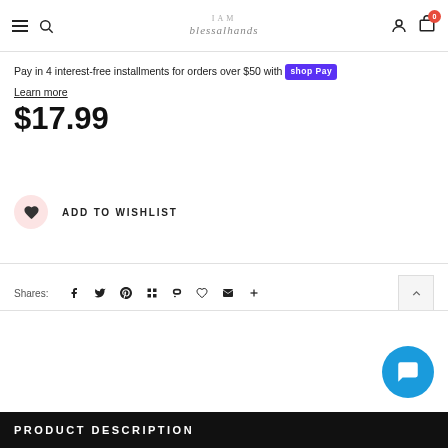IAM blessalhands navigation header with hamburger menu, search, logo, user icon, and cart (0)
Pay in 4 interest-free installments for orders over $50 with Shop Pay
Learn more
$17.99
ADD TO WISHLIST
Shares:
PRODUCT DESCRIPTION